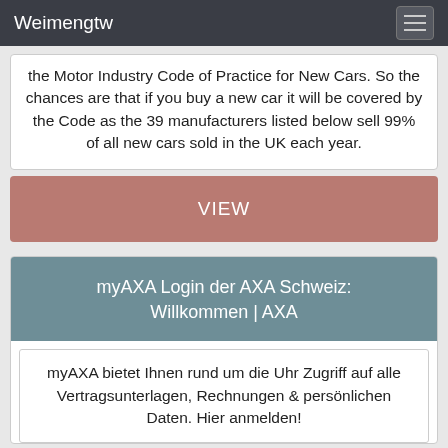Weimengtw
the Motor Industry Code of Practice for New Cars. So the chances are that if you buy a new car it will be covered by the Code as the 39 manufacturers listed below sell 99% of all new cars sold in the UK each year.
VIEW
myAXA Login der AXA Schweiz: Willkommen | AXA
myAXA bietet Ihnen rund um die Uhr Zugriff auf alle Vertragsunterlagen, Rechnungen & persönlichen Daten. Hier anmelden!